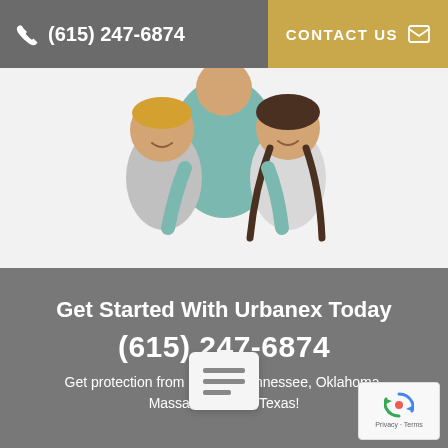(615) 247-6874   CONTACT US
[Figure (photo): Smiling family with two children — a boy and a girl — standing together against a white background, being embraced by an adult.]
Get Started With Urbanex Today
(615) 247-6874
Get protection from pests in Tennessee, Oklahoma, Massachusetts & Texas!